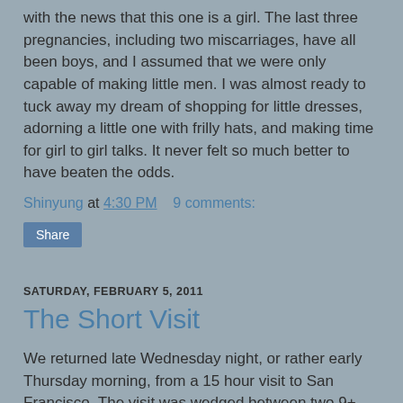with the news that this one is a girl. The last three pregnancies, including two miscarriages, have all been boys, and I assumed that we were only capable of making little men. I was almost ready to tuck away my dream of shopping for little dresses, adorning a little one with frilly hats, and making time for girl to girl talks. It never felt so much better to have beaten the odds.
Shinyung at 4:30 PM    9 comments:
Share
SATURDAY, FEBRUARY 5, 2011
The Short Visit
We returned late Wednesday night, or rather early Thursday morning, from a 15 hour visit to San Francisco. The visit was wedged between two 9+ hours of driving - from San Diego and back. It was meant to be a normal visit - a 1.5 hour flight in the morning and a 1.5 hour return that night with a short layover in the middle of the day. That is until Jeff found